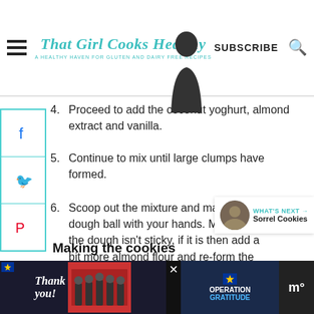That Girl Cooks Healthy — A Healthy Haven for Gluten and Dairy Free Recipes | SUBSCRIBE
4. Proceed to add the coconut yoghurt, almond extract and vanilla.
5. Continue to mix until large clumps have formed.
6. Scoop out the mixture and make a dough ball with your hands. Make sure the dough isn't sticky, if it is then add a bit more almond flour and re-form the dough ball.
7. Saran wrap (cling film) the dough and leave to set in your refrigerator for about chill (very important)
Making the cookies